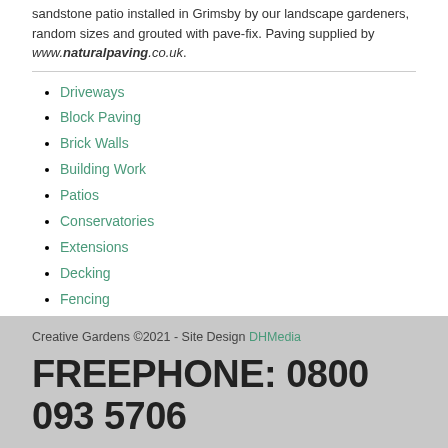sandstone patio installed in Grimsby by our landscape gardeners, random sizes and grouted with pave-fix. Paving supplied by www.naturalpaving.co.uk.
Driveways
Block Paving
Brick Walls
Building Work
Patios
Conservatories
Extensions
Decking
Fencing
Garden Clearance
Creative Gardens ©2021 - Site Design DHMedia
FREEPHONE: 0800 093 5706